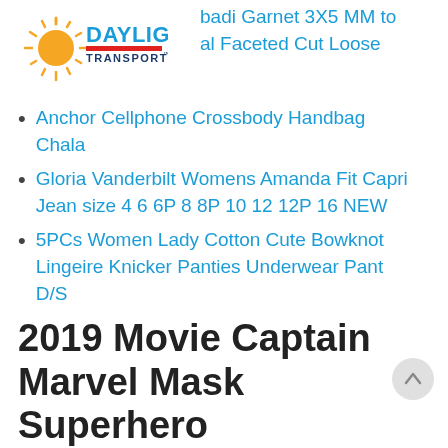[Figure (logo): Daylight Transport logo with sun rays and blue/red text]
badi Garnet 3X5 MM to al Faceted Cut Loose
Anchor Cellphone Crossbody Handbag Chala
Gloria Vanderbilt Womens Amanda Fit Capri Jean size 4 6 6P 8 8P 10 12 12P 16 NEW
5PCs Women Lady Cotton Cute Bowknot Lingeire Knicker Panties Underwear Pant D/S
2019 Movie Captain Marvel Mask Superhero